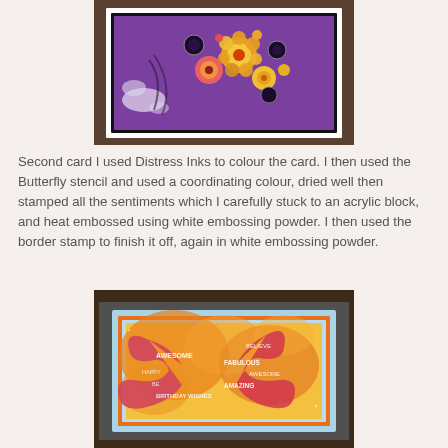[Figure (photo): Photo of a handmade card with purple/violet background featuring colorful flowers (yellow, orange, pink) and circular medallion designs on a white card base placed on a wooden surface.]
Second card I used Distress Inks to colour the card. I then used the Butterfly stencil and used a coordinating colour, dried well then stamped all the sentiments which I carefully stuck to an acrylic block, and heat embossed using white embossing powder. I then used the border stamp to finish it off, again in white embossing powder.
[Figure (photo): Photo of a handmade card with yellow-orange Distress Ink background featuring large pink/red butterfly silhouettes and white heat-embossed sentiment words (AWESOME, FABULOUS, HAPPY, AMAZING, BIRTHDAY, WISHES etc.) with an orange and blue border, placed on a dark wooden surface.]